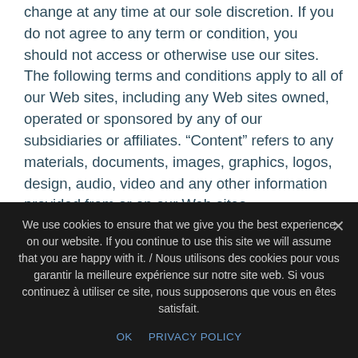change at any time at our sole discretion. If you do not agree to any term or condition, you should not access or otherwise use our sites. The following terms and conditions apply to all of our Web sites, including any Web sites owned, operated or sponsored by any of our subsidiaries or affiliates. “Content” refers to any materials, documents, images, graphics, logos, design, audio, video and any other information provided from or on our Web sites.
1. We Provide Our Web Site For Your Convenience O...
We use cookies to ensure that we give you the best experience on our website. If you continue to use this site we will assume that you are happy with it. / Nous utilisons des cookies pour vous garantir la meilleure expérience sur notre site web. Si vous continuez à utiliser ce site, nous supposerons que vous en êtes satisfait.